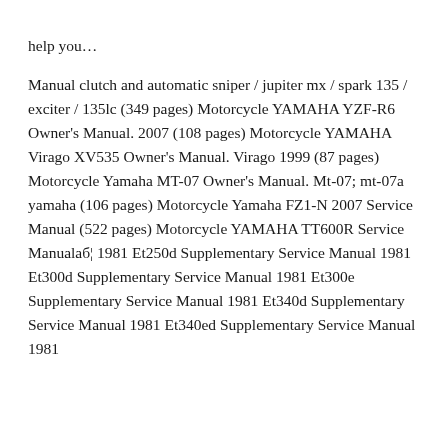help you... Manual clutch and automatic sniper / jupiter mx / spark 135 / exciter / 135lc (349 pages) Motorcycle YAMAHA YZF-R6 Owner's Manual. 2007 (108 pages) Motorcycle YAMAHA Virago XV535 Owner's Manual. Virago 1999 (87 pages) Motorcycle Yamaha MT-07 Owner's Manual. Mt-07; mt-07a yamaha (106 pages) Motorcycle Yamaha FZ1-N 2007 Service Manual (522 pages) Motorcycle YAMAHA TT600R Service Manual… 1981 Et250d Supplementary Service Manual 1981 Et300d Supplementary Service Manual 1981 Et300e Supplementary Service Manual 1981 Et340d Supplementary Service Manual 1981 Et340ed Supplementary Service Manual 1981